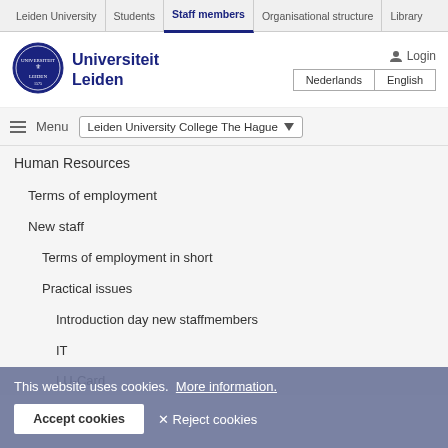Leiden University | Students | Staff members | Organisational structure | Library
[Figure (logo): Universiteit Leiden circular seal/logo in dark blue]
Universiteit Leiden
Login
Nederlands | English
≡ Menu  Leiden University College The Hague ▾
Human Resources
Terms of employment
New staff
Terms of employment in short
Practical issues
Introduction day new staffmembers
IT
LU-Card
This website uses cookies.  More information.
Accept cookies   ✕ Reject cookies